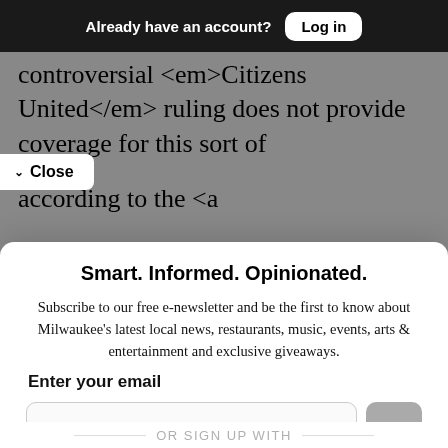Already have an account? Log in
controversial <em>Citizens United</em> ruling does not provide coverage for this sort of according to the <a
Close
Smart. Informed. Opinionated.
Subscribe to our free e-newsletter and be the first to know about Milwaukee's latest local news, restaurants, music, events, arts & entertainment and exclusive giveaways.
Enter your email
name@domain.com
OR SIGN UP WITH